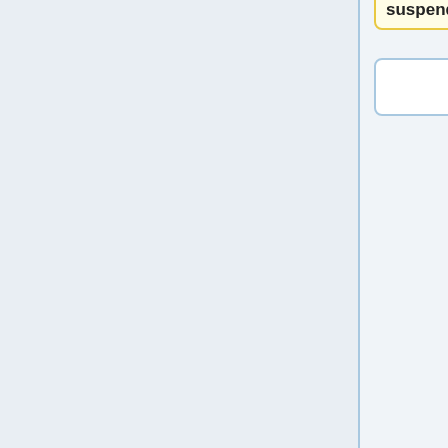suspended.
===HL7 Concept Domains and HL7 Coding Systems===
The availability of HL7 concept domains and coding systems allows the reuse of RBAC object terminology by other standards such as Composite Privacy Consent Directive (aka